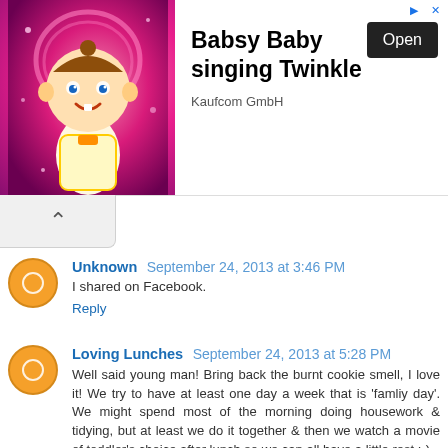[Figure (infographic): Advertisement banner for 'Babsy Baby singing Twinkle' by Kaufcom GmbH. Shows a cartoon baby with a heart halo on a pink sparkly background, with an 'Open' button.]
I shared on Facebook.
Reply
Well said young man! Bring back the burnt cookie smell, I love it! We try to have at least one day a week that is 'famliy day'. We might spend most of the morning doing housework & tidying, but at least we do it together & then we watch a movie of toddler's choice after lunch so we can all have a little rest :-)
Reply